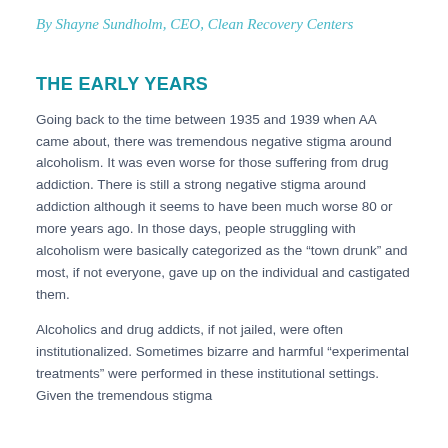By Shayne Sundholm, CEO, Clean Recovery Centers
THE EARLY YEARS
Going back to the time between 1935 and 1939 when AA came about, there was tremendous negative stigma around alcoholism. It was even worse for those suffering from drug addiction. There is still a strong negative stigma around addiction although it seems to have been much worse 80 or more years ago. In those days, people struggling with alcoholism were basically categorized as the “town drunk” and most, if not everyone, gave up on the individual and castigated them.
Alcoholics and drug addicts, if not jailed, were often institutionalized. Sometimes bizarre and harmful “experimental treatments” were performed in these institutional settings. Given the tremendous stigma